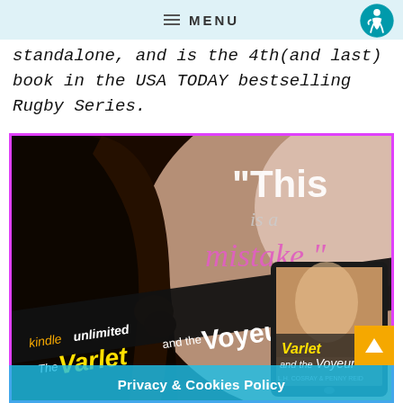MENU
standalone, and is the 4th(and last) book in the USA TODAY bestselling Rugby Series.
[Figure (photo): Promotional book cover image for 'The Varlet and the Voyeur' by L.H. Cosway & Penny Reid. Shows a figure adjusting clothing with text 'This is a mistake.' and Kindle Unlimited branding. Includes a tablet showing the book cover.]
Privacy & Cookies Policy